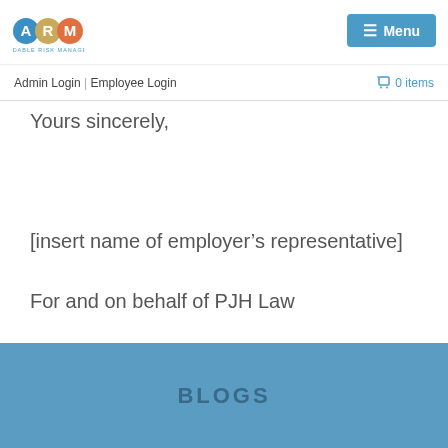[Figure (logo): ARM - Affordable Risk Management logo with three colored circles: blue A, gold R, orange M]
≡ Menu
Admin Login | Employee Login
🛒 0 items
Yours sincerely,
[insert name of employer's representative]
For and on behalf of PJH Law
BLOGS